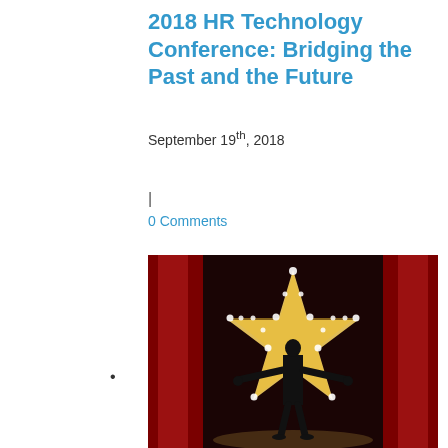2018 HR Technology Conference: Bridging the Past and the Future
September 19th, 2018
|
0 Comments
•
[Figure (photo): Silhouette of a person standing in front of a large illuminated star with light bulbs, flanked by red curtains on a stage]